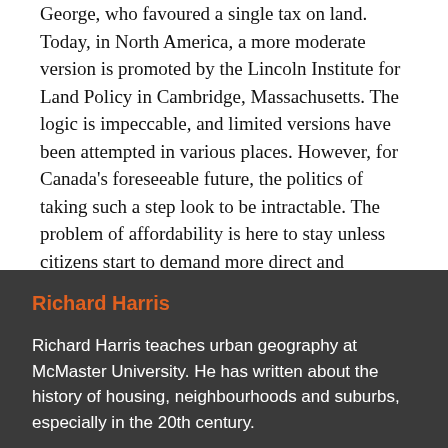George, who favoured a single tax on land. Today, in North America, a more moderate version is promoted by the Lincoln Institute for Land Policy in Cambridge, Massachusetts. The logic is impeccable, and limited versions have been attempted in various places. However, for Canada's foreseeable future, the politics of taking such a step look to be intractable. The problem of affordability is here to stay unless citizens start to demand more direct and immediate action.
Richard Harris
Richard Harris teaches urban geography at McMaster University. He has written about the history of housing, neighbourhoods and suburbs, especially in the 20th century.